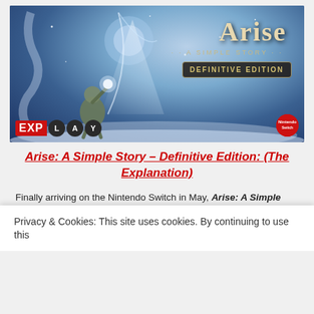[Figure (screenshot): Game promotional image for Arise: A Simple Story – Definitive Edition showing a character raising a glowing orb against a dark blue/grey snowy sky, with the game title 'Arise · A Simple Story · Definitive Edition' in top right, EXPlay logo bottom left, Nintendo Switch logo bottom right.]
Arise: A Simple Story – Definitive Edition: (The Explanation)
Finally arriving on the Nintendo Switch in May, Arise: A Simple Story – Definitive Edition is a narrative story adventure that uses the world and postcard-like images to tell the tale of its main character. The story is an emotional story that follows a man and the loss of his greatest love.
Privacy & Cookies: This site uses cookies. By continuing to use this